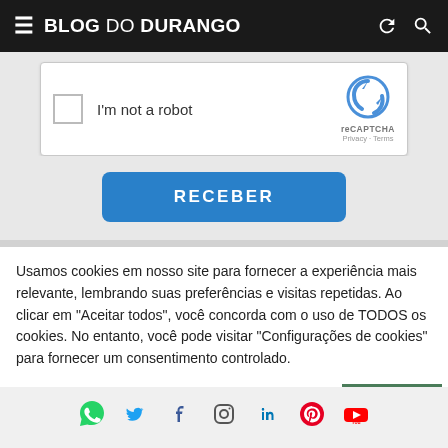BLOG DO DURANGO
[Figure (screenshot): reCAPTCHA widget with checkbox labeled 'I'm not a robot' and reCAPTCHA logo with Privacy and Terms links]
[Figure (screenshot): Blue RECEBER button]
Usamos cookies em nosso site para fornecer a experiência mais relevante, lembrando suas preferências e visitas repetidas. Ao clicar em "Aceitar todos", você concorda com o uso de TODOS os cookies. No entanto, você pode visitar "Configurações de cookies" para fornecer um consentimento controlado.
[Figure (infographic): Social media icons: WhatsApp, Twitter, Facebook, Instagram, LinkedIn, Pinterest, YouTube]